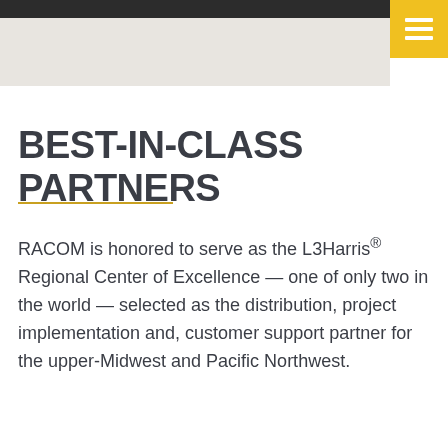BEST-IN-CLASS PARTNERS
RACOM is honored to serve as the L3Harris® Regional Center of Excellence — one of only two in the world — selected as the distribution, project implementation and, customer support partner for the upper-Midwest and Pacific Northwest.